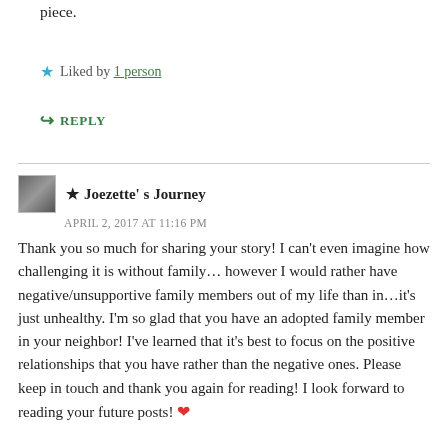piece.
★ Liked by 1 person
↪ REPLY
★ Joezette's Journey
APRIL 2, 2017 AT 11:16 PM
Thank you so much for sharing your story! I can't even imagine how challenging it is without family… however I would rather have negative/unsupportive family members out of my life than in…it's just unhealthy. I'm so glad that you have an adopted family member in your neighbor! I've learned that it's best to focus on the positive relationships that you have rather than the negative ones. Please keep in touch and thank you again for reading! I look forward to reading your future posts! ❤